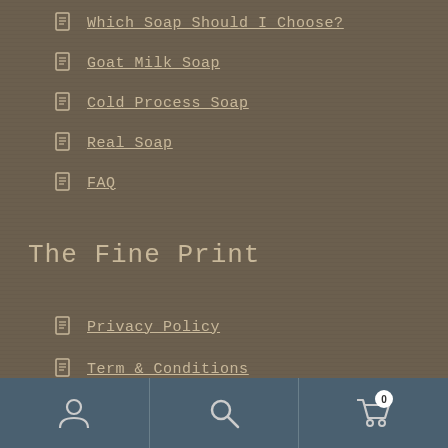Which Soap Should I Choose?
Goat Milk Soap
Cold Process Soap
Real Soap
FAQ
The Fine Print
Privacy Policy
Term & Conditions
[Figure (other): Mobile navigation bar with user icon, search icon, and shopping cart icon with badge showing 0]